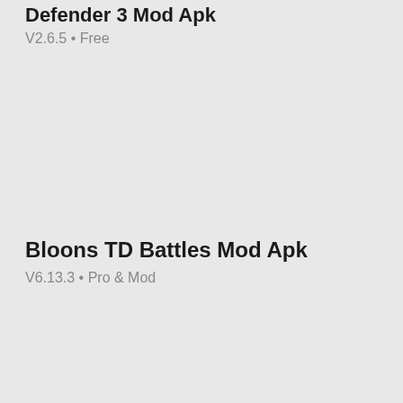Defender 3 Mod Apk
V2.6.5 • Free
Bloons TD Battles Mod Apk
V6.13.3 • Pro & Mod